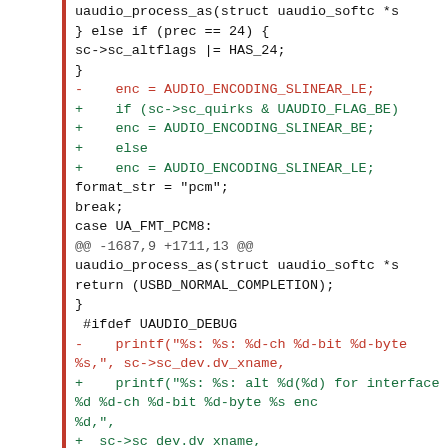uaudio_process_as(struct uaudio_softc *s
} else if (prec == 24) {
sc->sc_altflags |= HAS_24;
}
-    enc = AUDIO_ENCODING_SLINEAR_LE;
+    if (sc->sc_quirks & UAUDIO_FLAG_BE)
+    enc = AUDIO_ENCODING_SLINEAR_BE;
+    else
+    enc = AUDIO_ENCODING_SLINEAR_LE;
format_str = "pcm";
break;
case UA_FMT_PCM8:
@@ -1687,9 +1711,13 @@
uaudio_process_as(struct uaudio_softc *s
return (USBD_NORMAL_COMPLETION);
}
 #ifdef UAUDIO_DEBUG
-    printf("%s: %s: %d-ch %d-bit %d-byte %s,", sc->sc_dev.dv_xname,
+    printf("%s: %s: alt %d(%d) for interface %d %d-ch %d-bit %d-byte %s enc %d,",
+  sc->sc_dev.dv_xname,